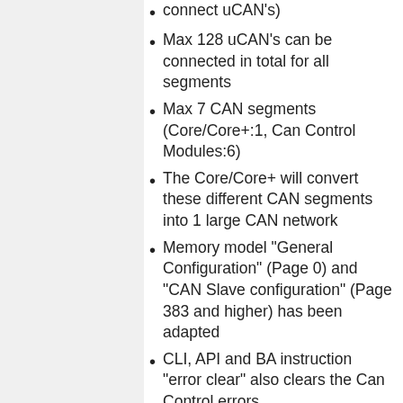connect uCAN's)
Max 128 uCAN's can be connected in total for all segments
Max 7 CAN segments (Core/Core+:1, Can Control Modules:6)
The Core/Core+ will convert these different CAN segments into 1 large CAN network
Memory model "General Configuration" (Page 0) and "CAN Slave configuration" (Page 383 and higher) has been adapted
CLI, API and BA instruction "error clear" also clears the Can Control errors
Queue has been added for all incoming CAN messages from